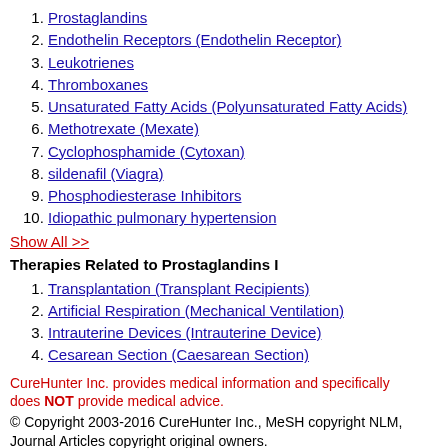1. Prostaglandins
2. Endothelin Receptors (Endothelin Receptor)
3. Leukotrienes
4. Thromboxanes
5. Unsaturated Fatty Acids (Polyunsaturated Fatty Acids)
6. Methotrexate (Mexate)
7. Cyclophosphamide (Cytoxan)
8. sildenafil (Viagra)
9. Phosphodiesterase Inhibitors
10. Idiopathic pulmonary hypertension
Show All >>
Therapies Related to Prostaglandins I
1. Transplantation (Transplant Recipients)
2. Artificial Respiration (Mechanical Ventilation)
3. Intrauterine Devices (Intrauterine Device)
4. Cesarean Section (Caesarean Section)
CureHunter Inc. provides medical information and specifically does NOT provide medical advice.
© Copyright 2003-2016 CureHunter Inc., MeSH copyright NLM, Journal Articles copyright original owners.